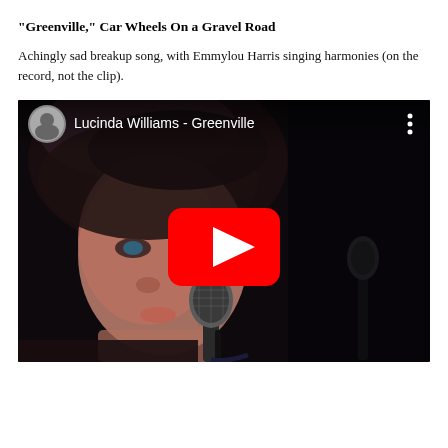“Greenville,” Car Wheels On a Gravel Road
Achingly sad breakup song, with Emmylou Harris singing harmonies (on the record, not the clip).
[Figure (screenshot): YouTube video thumbnail showing Lucinda Williams performing at a microphone, dark background. Video title bar reads 'Lucinda Williams - Greenville' with a YouTube channel avatar on the left and three-dot menu on the right. A red YouTube play button is centered on the image.]